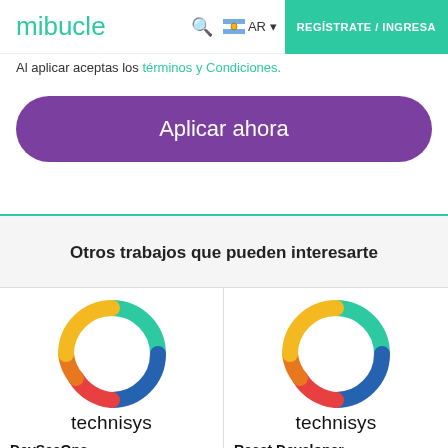mibucle | AR | REGÍSTRATE / INGRESA
Al aplicar aceptas los términos y Condiciones.
Aplicar ahora
Otros trabajos que pueden interesarte
[Figure (logo): Technisys logo: rainbow ring with company name 'technisys' below - left card (DevSecOps)]
DevSecOps
Technisys
[Figure (logo): Technisys logo: rainbow ring with company name 'technisys' below - right card (React Developer)]
React Developer
Technisys